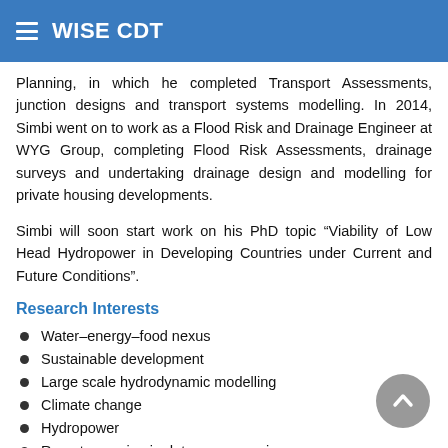WISE CDT
Planning, in which he completed Transport Assessments, junction designs and transport systems modelling. In 2014, Simbi went on to work as a Flood Risk and Drainage Engineer at WYG Group, completing Flood Risk Assessments, drainage surveys and undertaking drainage design and modelling for private housing developments.
Simbi will soon start work on his PhD topic “Viability of Low Head Hydropower in Developing Countries under Current and Future Conditions”.
Research Interests
Water–energy–food nexus
Sustainable development
Large scale hydrodynamic modelling
Climate change
Hydropower
Remote sensing in data sparse regions